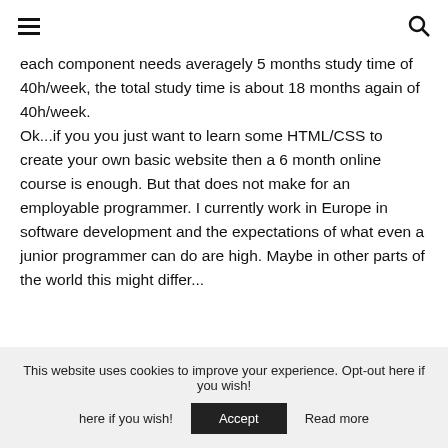≡ 🔍
each component needs averagely 5 months study time of 40h/week, the total study time is about 18 months again of 40h/week.
Ok...if you you just want to learn some HTML/CSS to create your own basic website then a 6 month online course is enough. But that does not make for an employable programmer. I currently work in Europe in software development and the expectations of what even a junior programmer can do are high. Maybe in other parts of the world this might differ...
This website uses cookies to improve your experience. Opt-out here if you wish! Accept Read more